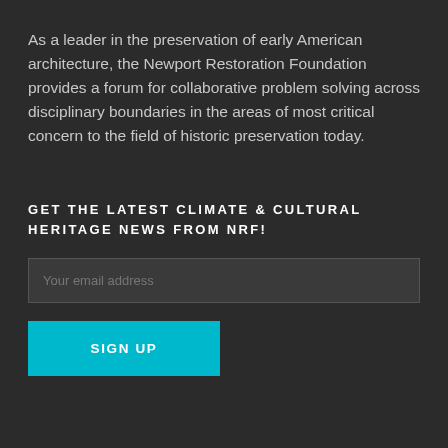As a leader in the preservation of early American architecture, the Newport Restoration Foundation provides a forum for collaborative problem solving across disciplinary boundaries in the areas of most critical concern to the field of historic preservation today.
GET THE LATEST CLIMATE & CULTURAL HERITAGE NEWS FROM NRF!
Your email address
SIGN UP